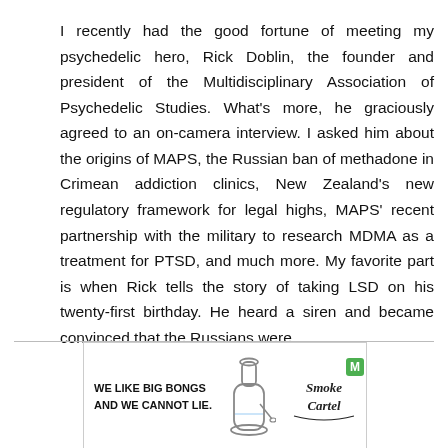I recently had the good fortune of meeting my psychedelic hero, Rick Doblin, the founder and president of the Multidisciplinary Association of Psychedelic Studies. What's more, he graciously agreed to an on-camera interview. I asked him about the origins of MAPS, the Russian ban of methadone in Crimean addiction clinics, New Zealand's new regulatory framework for legal highs, MAPS' recent partnership with the military to research MDMA as a treatment for PTSD, and much more. My favorite part is when Rick tells the story of taking LSD on his twenty-first birthday. He heard a siren and became convinced that the Russians were...
[Figure (infographic): Advertisement banner: 'WE LIKE BIG BONGS AND WE CANNOT LIE.' with an image of a glass bong and a stylized logo reading 'Smoke Cartel' with an 'M' badge.]